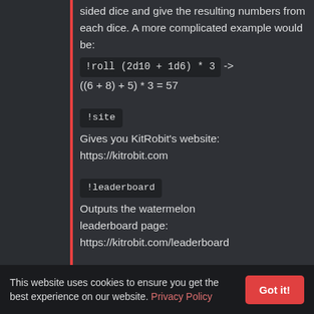sided dice and give the resulting numbers from each dice. A more complicated example would be:
!roll (2d10 + 1d6) * 3 -> ((6 + 8) + 5) * 3 = 57
!site
Gives you KitRobit's website:
https://kitrobit.com
!leaderboard
Outputs the watermelon leaderboard page:
https://kitrobit.com/leaderboard
This website uses cookies to ensure you get the best experience on our website. Privacy Policy